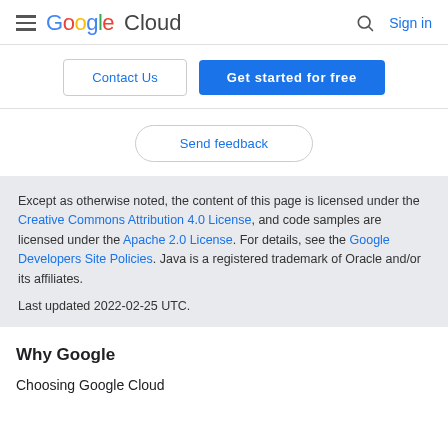Google Cloud  Sign in
Contact Us  Get started for free
Send feedback
Except as otherwise noted, the content of this page is licensed under the Creative Commons Attribution 4.0 License, and code samples are licensed under the Apache 2.0 License. For details, see the Google Developers Site Policies. Java is a registered trademark of Oracle and/or its affiliates.

Last updated 2022-02-25 UTC.
Why Google
Choosing Google Cloud